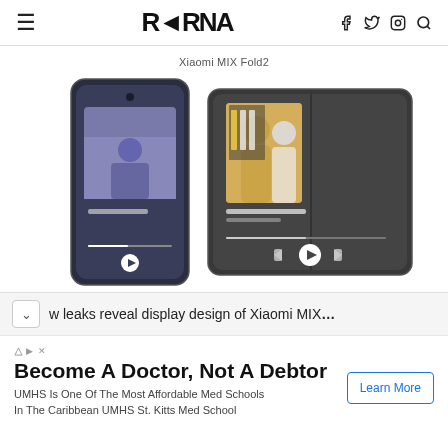RRRNA
Xiaomi MIX Fold2
[Figure (photo): Two smartphones showing the Xiaomi MIX Fold2 — one in folded (phone) form showing a music player app with an album cover, and one in unfolded (tablet) form showing a wider music player with a different album cover and playback controls.]
w leaks reveal display design of Xiaomi MIX…
Become A Doctor, Not A Debtor
UMHS Is One Of The Most Affordable Med Schools In The Caribbean UMHS St. Kitts Med School